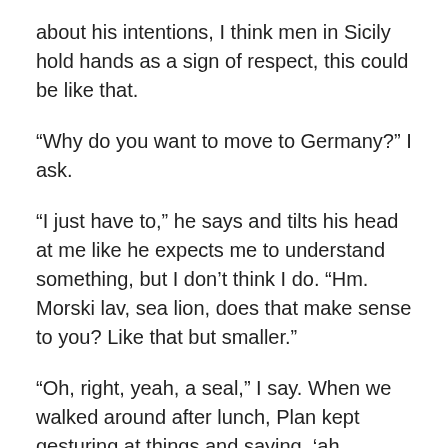about his intentions, I think men in Sicily hold hands as a sign of respect, this could be like that.
“Why do you want to move to Germany?” I ask.
“I just have to,” he says and tilts his head at me like he expects me to understand something, but I don’t think I do. “Hm. Morski lav, sea lion, does that make sense to you? Like that but smaller.”
“Oh, right, yeah, a seal,” I say. When we walked around after lunch, Plan kept gesturing at things and saying, ‘ah, magnifico’. Not at examples of historic architecture or things of cultural significance, at a heavily armed guard